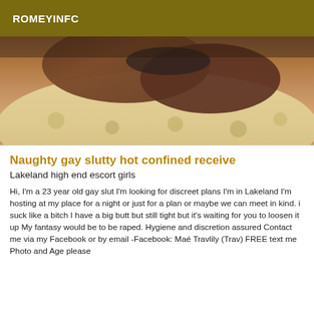ROMEYINFC
[Figure (photo): Close-up photo of a person lying on a bed with elephant-print bedding/fabric]
Naughty gay slutty hot confined receive
Lakeland high end escort girls
Hi, I'm a 23 year old gay slut I'm looking for discreet plans I'm in Lakeland I'm hosting at my place for a night or just for a plan or maybe we can meet in kind. i suck like a bitch I have a big butt but still tight but it's waiting for you to loosen it up My fantasy would be to be raped. Hygiene and discretion assured Contact me via my Facebook or by email -Facebook: Maé Travlily (Trav) FREE text me Photo and Age please